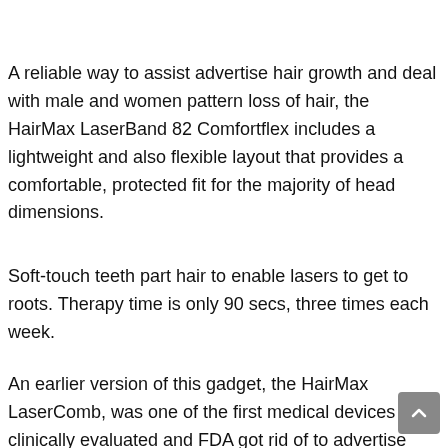A reliable way to assist advertise hair growth and deal with male and women pattern loss of hair, the HairMax LaserBand 82 Comfortflex includes a lightweight and also flexible layout that provides a comfortable, protected fit for the majority of head dimensions.
Soft-touch teeth part hair to enable lasers to get to roots. Therapy time is only 90 secs, three times each week.
An earlier version of this gadget, the HairMax LaserComb, was one of the first medical devices clinically evaluated and FDA got rid of to advertise hair development in both men and women with certain levels of hereditary hair loss.